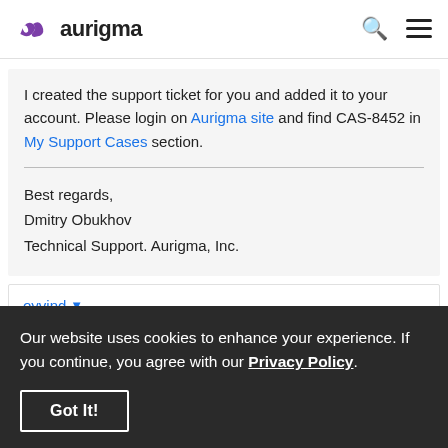aurigma
I created the support ticket for you and added it to your account. Please login on Aurigma site and find CAS-8452 in My Support Cases section.
Best regards,
Dmitry Obukhov
Technical Support. Aurigma, Inc.
oyvind
Our website uses cookies to enhance your experience. If you continue, you agree with our Privacy Policy.
Got It!